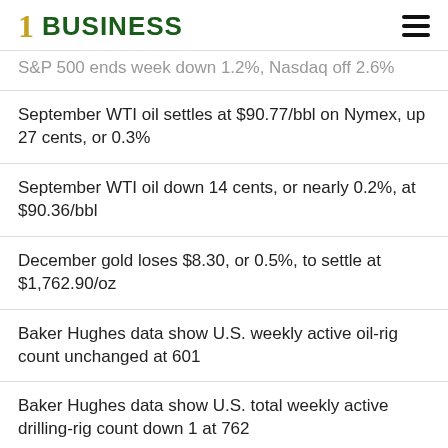1 BUSINESS
S&P 500 ends week down 1.2%, Nasdaq off 2.6%
September WTI oil settles at $90.77/bbl on Nymex, up 27 cents, or 0.3%
September WTI oil down 14 cents, or nearly 0.2%, at $90.36/bbl
December gold loses $8.30, or 0.5%, to settle at $1,762.90/oz
Baker Hughes data show U.S. weekly active oil-rig count unchanged at 601
Baker Hughes data show U.S. total weekly active drilling-rig count down 1 at 762
GigaCloud stock has been halted 9 times for volatility since the open